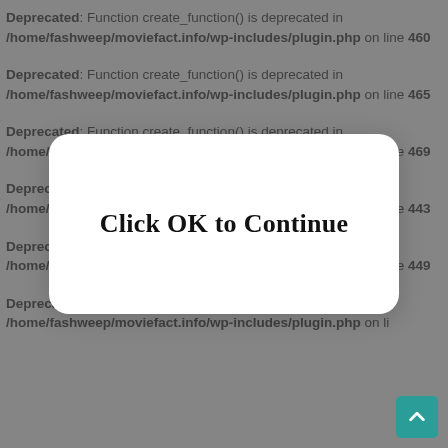Deprecated: Function create_function() is deprecated in /home/fashweep/moviefact.info/wp-includes/plugin.php on line 460
Deprecated: Function create_function() is deprecated in /home/fashweep/moviefact.info/wp-includes/plugin.php on line 465
Deprecated: Function create_function() is deprecated in /home/fashweep/moviefact.info/wp-includes/plugin.php on line 469
Deprecated: Function create_function() is deprecated in /home/fashweep/moviefact.info/wp-includes/plugin.php on line 443
Deprecated: Function create_function() is deprecated in /home/fashweep/moviefact.info/wp-includes/plugin.php on line 449
Deprecated: Function create_function() is deprecated in /home/fashweep/moviefact.info/wp-includes/plugin.php on line
[Figure (screenshot): Modal dialog with white rounded rectangle overlay displaying 'Click OK to Continue' in bold serif font, centered over a greyed-out background of PHP deprecated warnings]